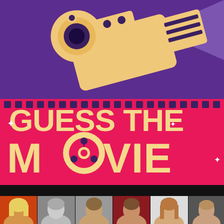[Figure (illustration): Guess The Movie app icon/logo. Top half: purple background with a cartoon retro film camera in tan/cream color emitting a light beam. Bottom half: bright pink/red background with film strip sprocket holes across the top, and large cream/tan text reading 'GUESS THE MOVIE' with a film reel integrated into the letter O of MOVIE. Sparkle/star accents around the text.]
[Figure (photo): Strip of six celebrity headshot photos on a black background at the bottom of the page. Six different people visible: blonde woman, older man in black and white, middle-aged man, younger man, woman with long hair, and a bald older man.]